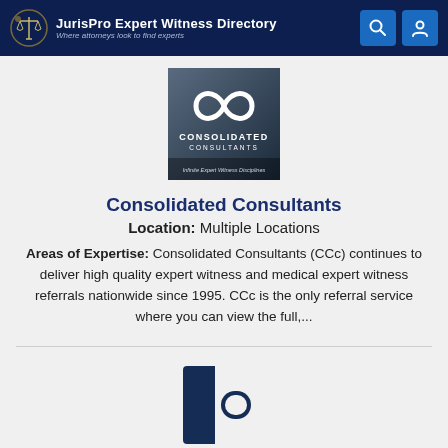JurisPro Expert Witness Directory — Where attorneys look to find experts
[Figure (logo): Consolidated Consultants logo: dark blue/gray background with infinity-shaped ribbon and text 'CONSOLIDATED CONSULTANTS — Infinite Expert Witness Disciplines']
Consolidated Consultants
Location: Multiple Locations
Areas of Expertise: Consolidated Consultants (CCc) continues to deliver high quality expert witness and medical expert witness referrals nationwide since 1995. CCc is the only referral service where you can view the full,...
[Figure (logo): Second listing logo: dark navy blue square bracket/C-shape icon with pill shape inside, on white background]